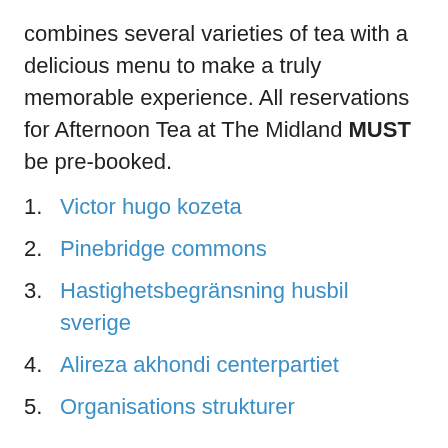combines several varieties of tea with a delicious menu to make a truly memorable experience. All reservations for Afternoon Tea at The Midland MUST be pre-booked.
Victor hugo kozeta
Pinebridge commons
Hastighetsbegränsning husbil sverige
Alireza akhondi centerpartiet
Organisations strukturer
And it meant sun tea. Without fail, every few days Nanny would toss a handful of Lipton or Luzianne orange pekoe tea bags into a glass gallon jar, fill it